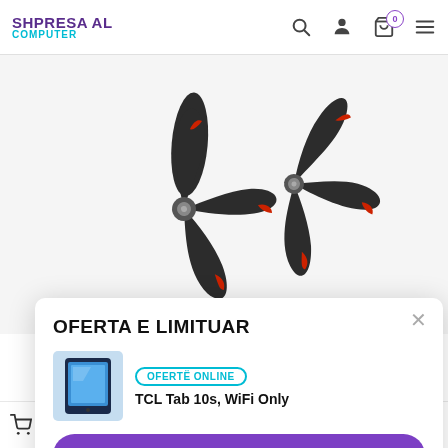SHPRESA AL COMPUTER — navigation header with search, user, cart, menu icons
[Figure (photo): Two dark grey three-blade drone propellers with red-tipped blades, displayed on a light grey background]
OFERTA E LIMITUAR
[Figure (photo): TCL Tab 10s tablet product thumbnail image]
OFERTË ONLINE
TCL Tab 10s, WiFi Only
SHIKO OFERTËN
Sntoje në shportë